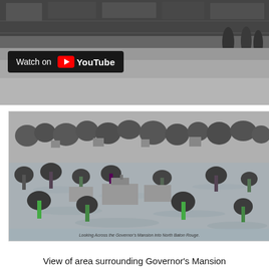[Figure (photo): Black and white photo showing people and storefronts/shelves, partially visible at top of page, with a YouTube 'Watch on' badge overlay]
[Figure (photo): Aerial black and white photograph showing a flooded area surrounding the Governor's Mansion, with trees and buildings partially submerged in floodwater, with an italic caption inside reading 'Looking Across the Governor's Mansion into North Baton Rouge']
View of area surrounding Governor's Mansion